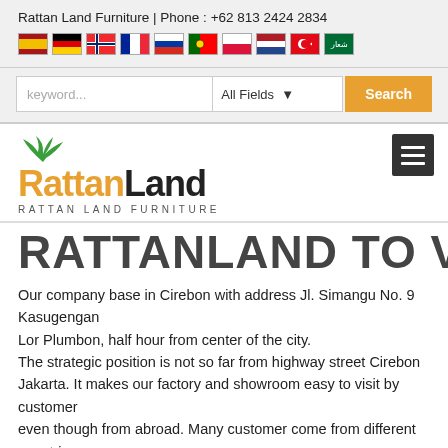Rattan Land Furniture | Phone : +62 813 2424 2834
[Figure (other): Row of 10 country flag icons: Spain, Germany, Norway, France, Russia, Portugal, Poland, Netherlands, Turkey, Saudi Arabia]
keyword...  All Fields  Search
[Figure (logo): RattanLand logo with palm leaf icon above text. 'Rattan' in orange bold, 'Land' in dark bold, subtitle 'RATTAN LAND FURNITURE' in spaced caps. Hamburger menu button on the right.]
RATTANLAND TO VISIT
Our company base in Cirebon with address Jl. Simangu No. 9 Kasugengan
Lor Plumbon, half hour from center of the city.
The strategic position is not so far from highway street Cirebon Jakarta. It makes our factory and showroom easy to visit by customer
even though from abroad. Many customer come from different countries, as
Spain, South Africa, USA, Italy, Lebanon, Malta, French Colombia